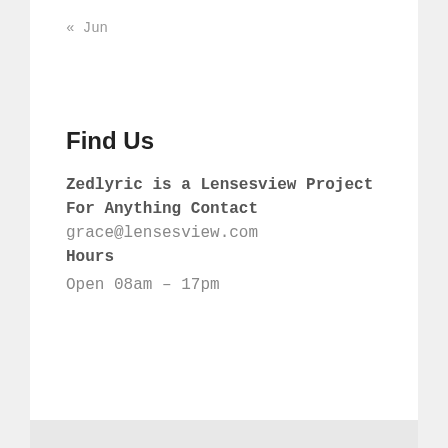« Jun
Find Us
Zedlyric is a Lensesview Project
For Anything Contact
grace@lensesview.com
Hours
Open 08am – 17pm